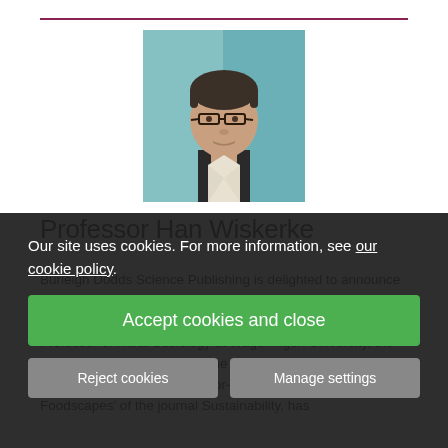[Figure (photo): Portrait photo of Professor Han Wiskerke, a middle-aged man with dark hair, glasses, wearing a dark jacket, photographed against a teal/blue-green background.]
Professor Han Wiskerke
Burleigh Dodds Science Publishing is delighted to announce Professor Han Wiskerke will edit our forthcoming collection 'Achieving sustainable urban agriculture'. Dr Wiskerke is Professor of Rural Sociology at Wageningen University, the Netherlands. He is Editor of the journal Urban Agriculture and Regional Food Systems, Editor-in-Chief of the 'City Region Foodscapes' of the journal Sustainability, has
Our site uses cookies. For more information, see our cookie policy.
Accept cookies and close
Reject cookies
Manage settings